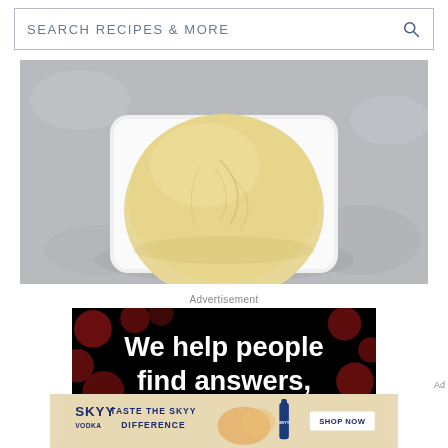SEARCH RECIPES & MORE
[Figure (photo): Overhead view of a smooth ball of bread dough in a white square baking dish, on a grey stone/marble surface]
Advertisement
[Figure (infographic): Black advertisement banner with dark red polka dots and white bold text reading: We help people find answers, solve problems]
[Figure (infographic): SKYY Vodka advertisement banner with beige background, SKYY logo, text TASTE THE SKYY DIFFERENCE, bottle image, and SHOP NOW button]